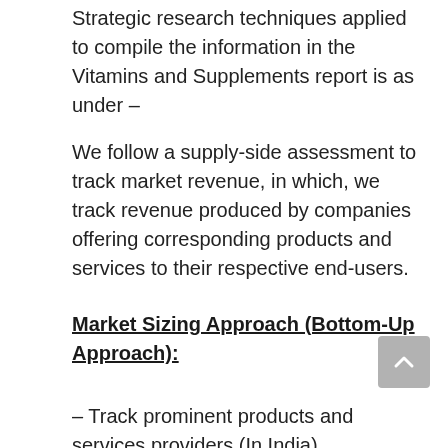Strategic research techniques applied to compile the information in the Vitamins and Supplements report is as under –
We follow a supply-side assessment to track market revenue, in which, we track revenue produced by companies offering corresponding products and services to their respective end-users.
Market Sizing Approach (Bottom-Up Approach):
– Track prominent products and services providers (In India)